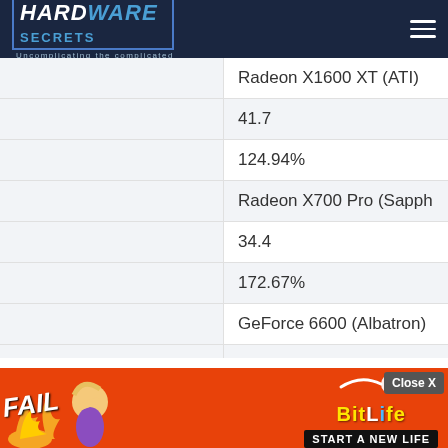Hardware Secrets - Uncomplicating the complicated
|  |  |
| --- | --- |
|  | Radeon X1600 XT (ATI) |
|  | 41.7 |
|  | 124.94% |
|  | Radeon X700 Pro (Sapph... |
|  | 34.4 |
|  | 172.67% |
|  | GeForce 6600 (Albatron) |
|  | 33.4 |
|  | 180.84% |
|  | Radeon X600 XT (ATI) |
[Figure (advertisement): BitLife - Start A New Life advertisement banner with FAIL text and cartoon character]